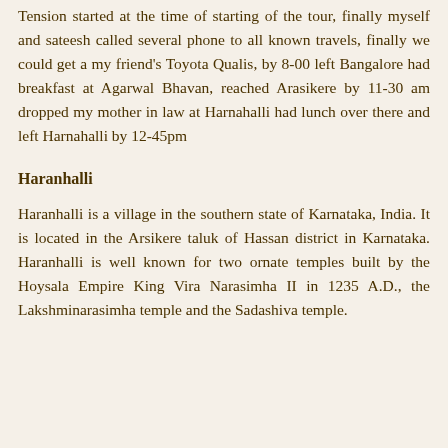Tension started at the time of starting of the tour, finally myself and sateesh called several phone to all known travels, finally we could get a my friend's Toyota Qualis, by 8-00 left Bangalore had breakfast at Agarwal Bhavan, reached Arasikere by 11-30 am dropped my mother in law at Harnahalli had lunch over there and left Harnahalli by 12-45pm
Haranhalli
Haranhalli is a village in the southern state of Karnataka, India. It is located in the Arsikere taluk of Hassan district in Karnataka. Haranhalli is well known for two ornate temples built by the Hoysala Empire King Vira Narasimha II in 1235 A.D., the Lakshminarasimha temple and the Sadashiva temple.